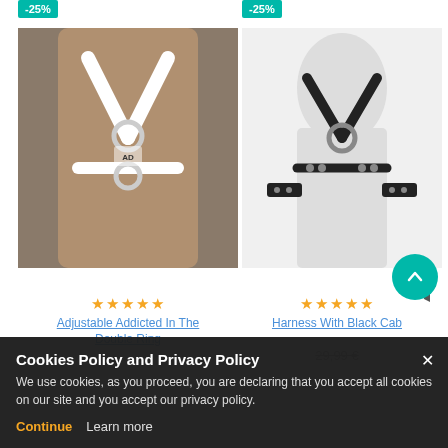[Figure (photo): Badge showing -25% discount on left product]
[Figure (photo): Badge showing -25% discount on right product]
[Figure (photo): Photo of a man wearing a white adjustable chest harness with double rings]
[Figure (photo): Photo of a mannequin torso wearing a black studded leather harness with cables]
★★★★★
★★★★★
Adjustable Addicted In The Double Ring
Harness With Black Cab
29,99 €
Cookies Policy and Privacy Policy
We use cookies, as you proceed, you are declaring that you accept all cookies on our site and you accept our privacy policy.
Continue
Learn more